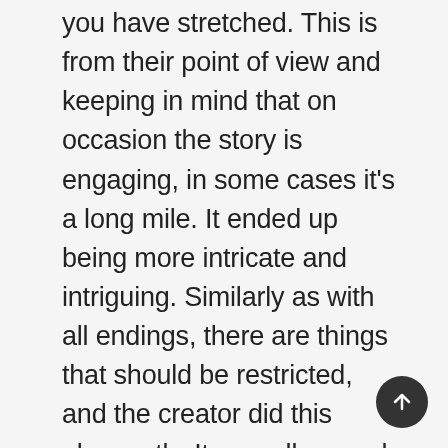you have stretched. This is from their point of view and keeping in mind that on occasion the story is engaging, in some cases it's a long mile. It ended up being more intricate and intriguing. Similarly as with all endings, there are things that should be restricted, and the creator did this pleasantly. It was all around paced, and the peruser finally accepts reality for what it is. It goes down like a super cold indulgence on a hot ocean side understanding day. In the end, The Year of the End by Anne Theroux PDF Download is ideally suited for those searching for a simple summer ocean side read. In the event that you appreciate hard fiction, you will adore this book. Regardless of whether you assume you are not keen on a weighty story, pacing and the good faith of the composing is all that could possibly be needed to make this book a great, invigorating